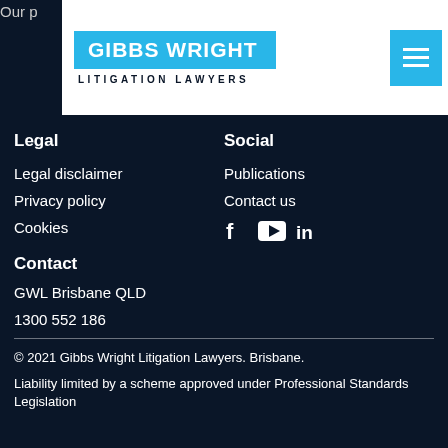Our p
[Figure (logo): Gibbs Wright Litigation Lawyers logo with blue background and hamburger menu button]
Legal
Social
Legal disclaimer
Publications
Privacy policy
Contact us
Cookies
Contact
GWL Brisbane QLD
1300 552 186
© 2021 Gibbs Wright Litigation Lawyers. Brisbane.
Liability limited by a scheme approved under Professional Standards Legislation